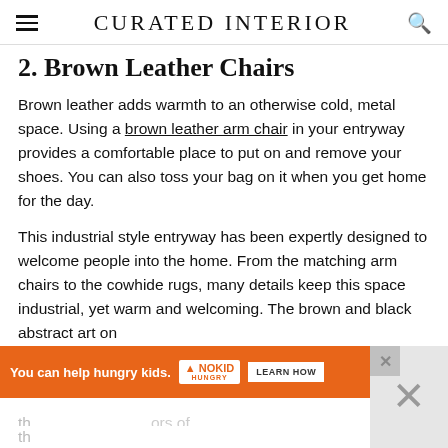CURATED INTERIOR
2. Brown Leather Chairs
Brown leather adds warmth to an otherwise cold, metal space. Using a brown leather arm chair in your entryway provides a comfortable place to put on and remove your shoes. You can also toss your bag on it when you get home for the day.
This industrial style entryway has been expertly designed to welcome people into the home. From the matching arm chairs to the cowhide rugs, many details keep this space industrial, yet warm and welcoming. The brown and black abstract art on the [continues]
[Figure (other): Orange advertisement banner: 'You can help hungry kids.' with No Kid Hungry logo and 'LEARN HOW' button]